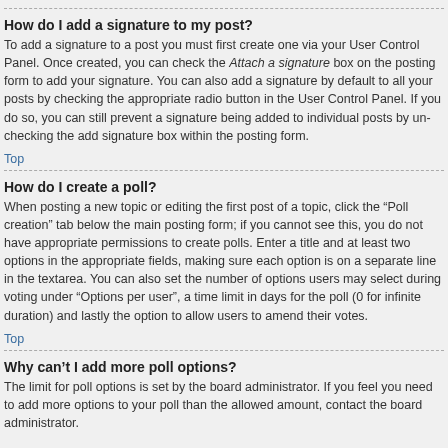How do I add a signature to my post?
To add a signature to a post you must first create one via your User Control Panel. Once created, you can check the Attach a signature box on the posting form to add your signature. You can also add a signature by default to all your posts by checking the appropriate radio button in the User Control Panel. If you do so, you can still prevent a signature being added to individual posts by un-checking the add signature box within the posting form.
Top
How do I create a poll?
When posting a new topic or editing the first post of a topic, click the “Poll creation” tab below the main posting form; if you cannot see this, you do not have appropriate permissions to create polls. Enter a title and at least two options in the appropriate fields, making sure each option is on a separate line in the textarea. You can also set the number of options users may select during voting under “Options per user”, a time limit in days for the poll (0 for infinite duration) and lastly the option to allow users to amend their votes.
Top
Why can’t I add more poll options?
The limit for poll options is set by the board administrator. If you feel you need to add more options to your poll than the allowed amount, contact the board administrator.